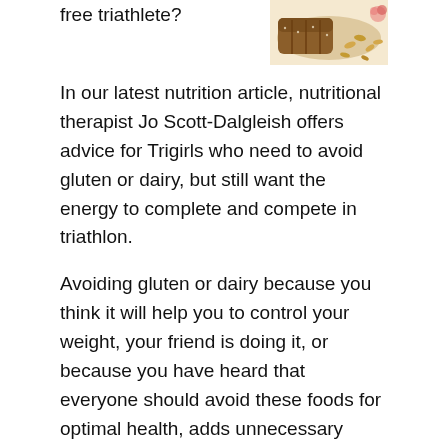free triathlete?
[Figure (photo): Photo of bread and grains]
In our latest nutrition article, nutritional therapist Jo Scott-Dalgleish offers advice for Trigirls who need to avoid gluten or dairy, but still want the energy to complete and compete in triathlon.
Avoiding gluten or dairy because you think it will help you to control your weight, your friend is doing it, or because you have heard that everyone should avoid these foods for optimal health, adds unnecessary complexity to putting together a nutrient dense, health-promoting diet to support your triathlon goals. Therefore, we do not recommend avoiding gluten or dairy without good reason.
However, some people clearly need to avoid gluten and/or dairy products for health reasons – that doesn't